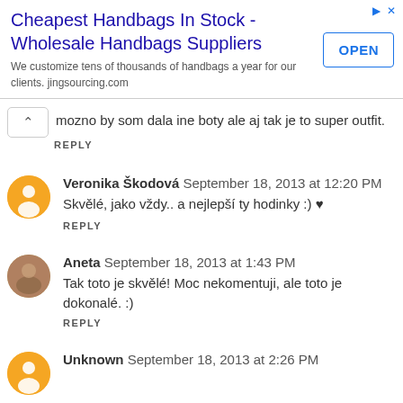[Figure (screenshot): Advertisement banner: 'Cheapest Handbags In Stock - Wholesale Handbags Suppliers' with OPEN button]
mozno by som dala ine boty ale aj tak je to super outfit.
REPLY
Veronika Škodová  September 18, 2013 at 12:20 PM
Skvělé, jako vždy.. a nejlepší ty hodinky :) ♥
REPLY
Aneta  September 18, 2013 at 1:43 PM
Tak toto je skvělé! Moc nekomentuji, ale toto je dokonalé. :)
REPLY
Unknown  September 18, 2013 at 2:26 PM